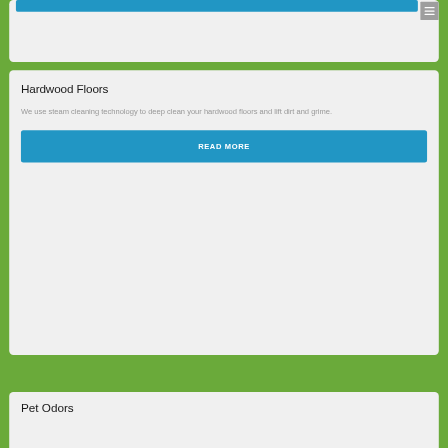[Figure (screenshot): Partial top card with blue button bar and hamburger menu icon on green background]
Hardwood Floors
We use steam cleaning technology to deep clean your hardwood floors and lift dirt and grime.
READ MORE
Pet Odors